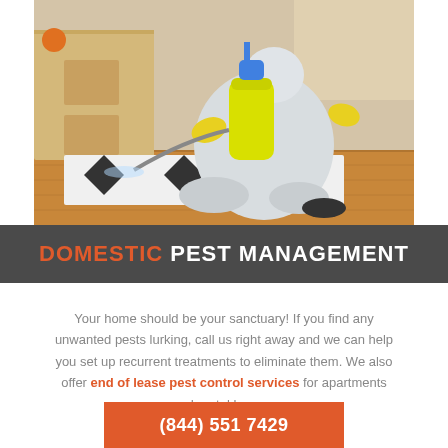[Figure (photo): A pest control worker in a white protective suit and yellow gloves kneeling on the floor, spraying pesticide with a yellow spray tank near a black and white patterned rug in a home setting.]
DOMESTIC PEST MANAGEMENT
Your home should be your sanctuary! If you find any unwanted pests lurking, call us right away and we can help you set up recurrent treatments to eliminate them. We also offer end of lease pest control services for apartments and rental homes.
(844) 551 7429